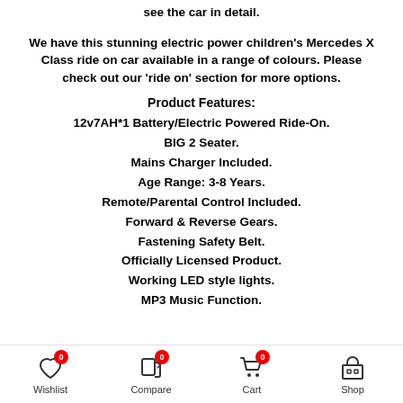see the car in detail.
We have this stunning electric power children's Mercedes X Class ride on car available in a range of colours. Please check out our 'ride on' section for more options.
Product Features:
12v7AH*1 Battery/Electric Powered Ride-On.
BIG 2 Seater.
Mains Charger Included.
Age Range: 3-8 Years.
Remote/Parental Control Included.
Forward & Reverse Gears.
Fastening Safety Belt.
Officially Licensed Product.
Working LED style lights.
MP3 Music Function.
Wishlist 0  Compare 0  Cart 0  Shop